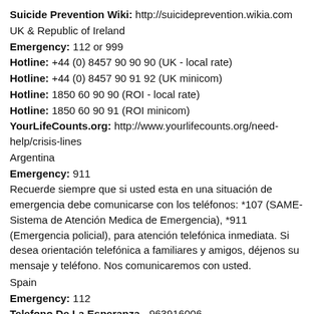Suicide Prevention Wiki: http://suicideprevention.wikia.com
UK & Republic of Ireland
Emergency: 112 or 999
Hotline: +44 (0) 8457 90 90 90 (UK - local rate)
Hotline: +44 (0) 8457 90 91 92 (UK minicom)
Hotline: 1850 60 90 90 (ROI - local rate)
Hotline: 1850 60 90 91 (ROI minicom)
YourLifeCounts.org: http://www.yourlifecounts.org/need-help/crisis-lines
Argentina
Emergency: 911
Recuerde siempre que si usted esta en una situación de emergencia debe comunicarse con los teléfonos: *107 (SAME-Sistema de Atención Medica de Emergencia), *911 (Emergencia policial), para atención telefónica inmediata. Si desea orientación telefónica a familiares y amigos, déjenos su mensaje y teléfono. Nos comunicaremos con usted.
Spain
Emergency: 112
Telefono De La Esperanza - 963916006 - http://telefonodelaesperanza.org/llamanos
Australia
Emergency: 000